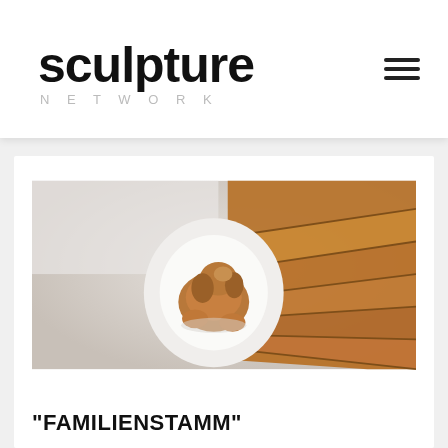sculpture NETWORK
[Figure (photo): Overhead view of a dog sitting at the base of a spiral wooden staircase, viewed from above. The staircase has wooden steps arranged in a fan/spiral pattern with a white curved center. The dog is brown/golden colored and appears to be looking upward.]
"FAMILIENSTAMM"